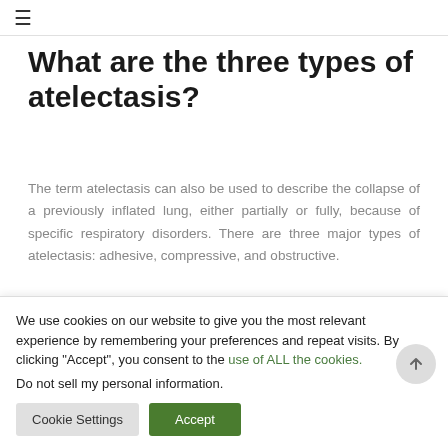≡
What are the three types of atelectasis?
The term atelectasis can also be used to describe the collapse of a previously inflated lung, either partially or fully, because of specific respiratory disorders. There are three major types of atelectasis: adhesive, compressive, and obstructive.
Is atelectasis reversible?
We use cookies on our website to give you the most relevant experience by remembering your preferences and repeat visits. By clicking "Accept", you consent to the use of ALL the cookies.
Do not sell my personal information.